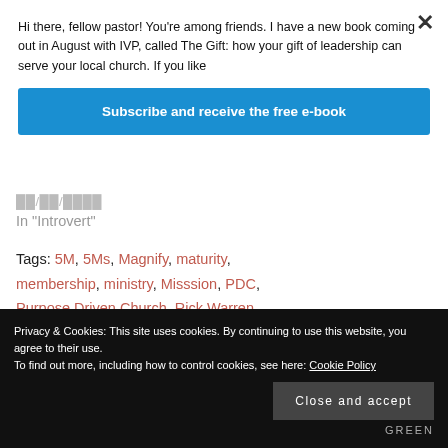Hi there, fellow pastor! You're among friends. I have a new book coming out in August with IVP, called The Gift: how your gift of leadership can serve your local church. If you like
Subscribe and receive the free e-book
In "Introvert"
Tags: 5M, 5Ms, Magnify, maturity, membership, ministry, Misssion, PDC, Purpose Driven Church, Rick Warren
Privacy & Cookies: This site uses cookies. By continuing to use this website, you agree to their use. To find out more, including how to control cookies, see here: Cookie Policy
Close and accept
GREEN